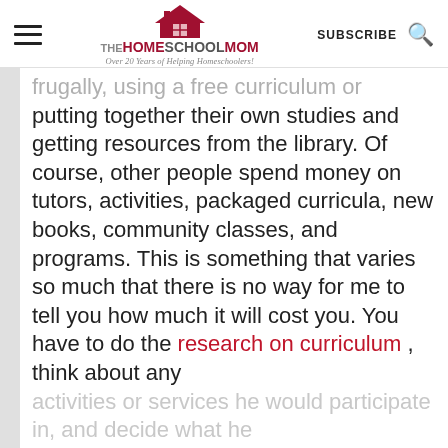THE HOMESCHOOL MOM — Over 20 Years of Helping Homeschoolers! | SUBSCRIBE | Search
frugally, using a free curriculum or putting together their own studies and getting resources from the library. Of course, other people spend money on tutors, activities, packaged curricula, new books, community classes, and programs. This is something that varies so much that there is no way for me to tell you how much it will cost you. You have to do the research on curriculum , think about any activities or services he would participate in, and decide what he